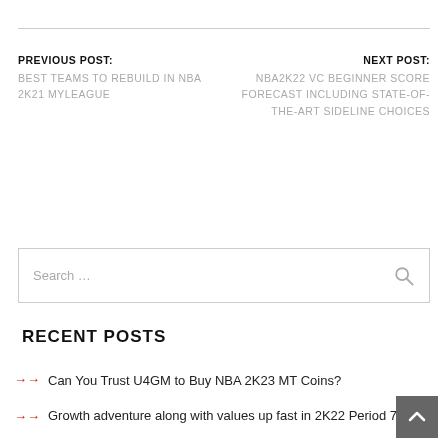PREVIOUS POST: BEST TEAMS TO REBUILD IN NBA 2K21 MYLEAGUE
NEXT POST: NBA2K22 VC BEGINNER SCORE FORECAST INCLUDING STATE-OF-THE-ART SIDELINE CHOICES
Search …
RECENT POSTS
Can You Trust U4GM to Buy NBA 2K23 MT Coins?
Growth adventure along with values up fast in 2K22 Period 7